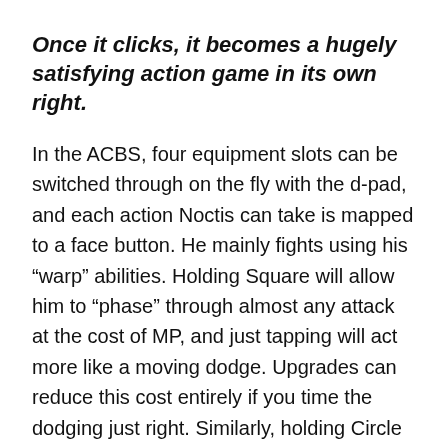Once it clicks, it becomes a hugely satisfying action game in its own right.
In the ACBS, four equipment slots can be switched through on the fly with the d-pad, and each action Noctis can take is mapped to a face button. He mainly fights using his “warp” abilities. Holding Square will allow him to “phase” through almost any attack at the cost of MP, and just tapping will act more like a moving dodge. Upgrades can reduce this cost entirely if you time the dodging just right. Similarly, holding Circle will attack, and you can change the moves with the left stick. Attacking different points on enemies can weaken or stun them, leaving them vulnerable, so you’ll want to consider positioning and dodging rather than just holding down attack.